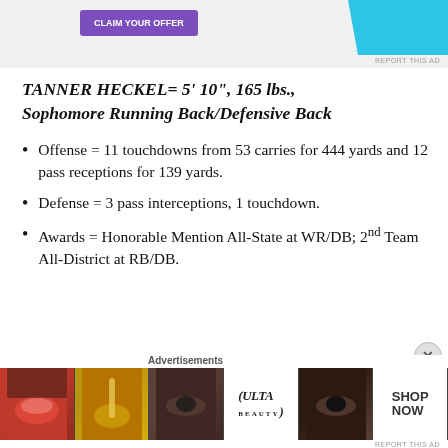[Figure (screenshot): Advertisement banner at top with purple button and blue shape]
TANNER HECKEL= 5' 10", 165 lbs., Sophomore Running Back/Defensive Back
Offense = 11 touchdowns from 53 carries for 444 yards and 12 pass receptions for 139 yards.
Defense = 3 pass interceptions, 1 touchdown.
Awards = Honorable Mention All-State at WR/DB; 2nd Team All-District at RB/DB.
Advertisements
[Figure (photo): Ulta beauty advertisement banner at bottom with makeup/beauty images and SHOP NOW text]